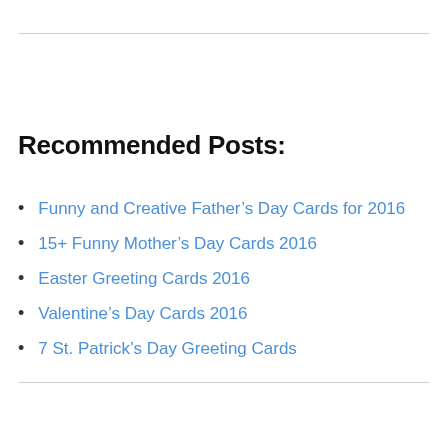Recommended Posts:
Funny and Creative Father's Day Cards for 2016
15+ Funny Mother's Day Cards 2016
Easter Greeting Cards 2016
Valentine's Day Cards 2016
7 St. Patrick's Day Greeting Cards